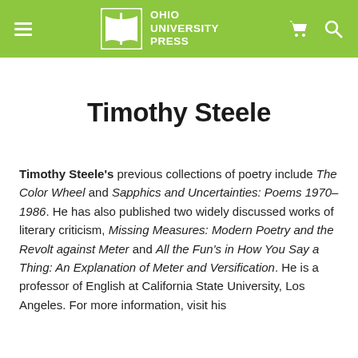Ohio University Press
Timothy Steele
Timothy Steele's previous collections of poetry include The Color Wheel and Sapphics and Uncertainties: Poems 1970–1986. He has also published two widely discussed works of literary criticism, Missing Measures: Modern Poetry and the Revolt against Meter and All the Fun's in How You Say a Thing: An Explanation of Meter and Versification. He is a professor of English at California State University, Los Angeles. For more information, visit his